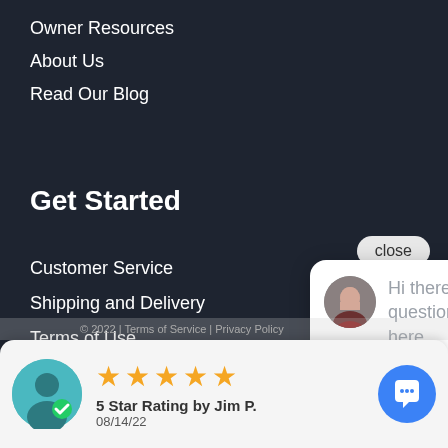Owner Resources
About Us
Read Our Blog
Get Started
Customer Service
Shipping and Delivery
Terms of Use
Privacy Policy
[Figure (screenshot): Social media icons: Facebook (f) and Instagram (ring icon) in teal color on dark background]
close
[Figure (screenshot): Chat widget popup with avatar photo of a woman and text: Hi there, have a question? Text us here.]
[Figure (screenshot): Review card at bottom: 5 star rating (5 gold stars), '5 Star Rating by Jim P.', date 08/14/22, with user avatar and blue chat FAB button]